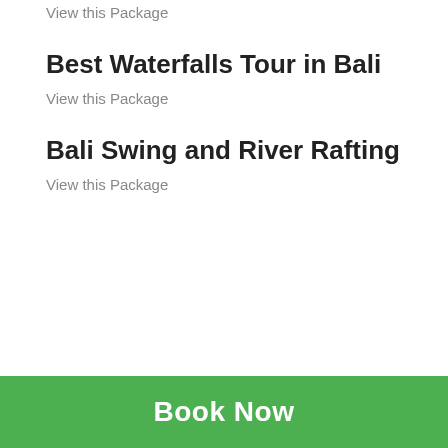View this Package
Best Waterfalls Tour in Bali
View this Package
Bali Swing and River Rafting
View this Package
Book Now